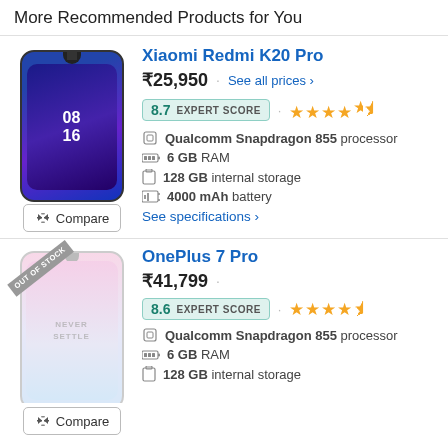More Recommended Products for You
Xiaomi Redmi K20 Pro
₹25,950 · See all prices ›
8.7 EXPERT SCORE · ★★★★½
Qualcomm Snapdragon 855 processor
6 GB RAM
128 GB internal storage
4000 mAh battery
See specifications ›
OnePlus 7 Pro
₹41,799 ·
8.6 EXPERT SCORE · ★★★★½
Qualcomm Snapdragon 855 processor
6 GB RAM
128 GB internal storage